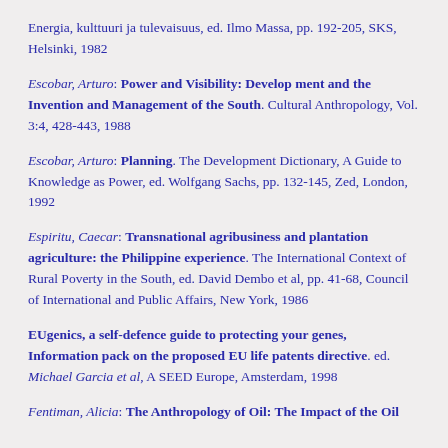Energia, kulttuuri ja tulevaisuus, ed. Ilmo Massa, pp. 192-205, SKS, Helsinki, 1982
Escobar, Arturo: Power and Visibility: Develop ment and the Invention and Management of the South. Cultural Anthropology, Vol. 3:4, 428-443, 1988
Escobar, Arturo: Planning. The Development Dictionary, A Guide to Knowledge as Power, ed. Wolfgang Sachs, pp. 132-145, Zed, London, 1992
Espiritu, Caecar: Transnational agribusiness and plantation agriculture: the Philippine experience. The International Context of Rural Poverty in the South, ed. David Dembo et al, pp. 41-68, Council of International and Public Affairs, New York, 1986
EUgenics, a self-defence guide to protecting your genes, Information pack on the proposed EU life patents directive. ed. Michael Garcia et al, A SEED Europe, Amsterdam, 1998
Fentiman, Alicia: The Anthropology of Oil: The Impact of the Oil